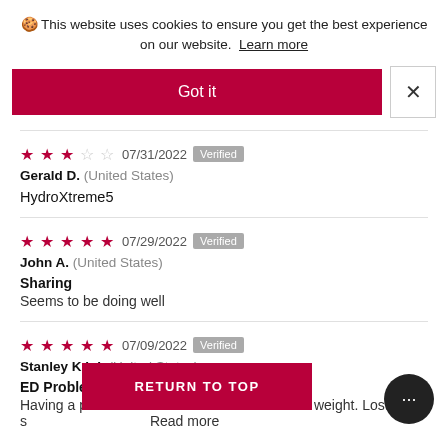🍪 This website uses cookies to ensure you get the best experience on our website. Learn more
Got it
★★★☆☆ 07/31/2022 Verified — Gerald D. (United States) — HydroXtreme5
★★★★★ 07/29/2022 Verified — John A. (United States) — Sharing — Seems to be doing well
★★★★★ 07/09/2022 Verified — Stanley K.L.I. (United States) — ED Problem — Having a prob...betes weight. Lost s... Read more
RETURN TO TOP